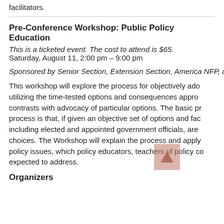facilitators.
Pre-Conference Workshop: Public Policy Education
This is a ticketed event. The cost to attend is $65.
Saturday, August 11, 2:00 pm – 9:00 pm
Sponsored by Senior Section, Extension Section, America NFP, and Southern Extension/Research Activities (SERA 39
This workshop will explore the process for objectively ado utilizing the time-tested options and consequences appro contrasts with advocacy of particular options. The basic pr process is that, if given an objective set of options and fac including elected and appointed government officials, are choices. The Workshop will explain the process and apply policy issues, which policy educators, teachers of policy co expected to address.
Organizers